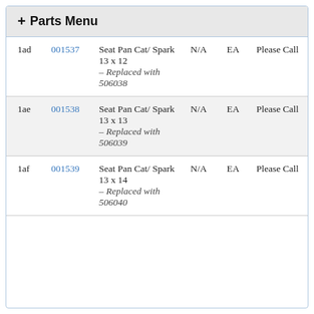+ Parts Menu
| Ref | Part # | Description |  | UOM | Price |
| --- | --- | --- | --- | --- | --- |
| 1ad | 001537 | Seat Pan Cat/ Spark 13 x 12 – Replaced with 506038 | N/A | EA | Please Call |
| 1ae | 001538 | Seat Pan Cat/ Spark 13 x 13 – Replaced with 506039 | N/A | EA | Please Call |
| 1af | 001539 | Seat Pan Cat/ Spark 13 x 14 – Replaced with 506040 | N/A | EA | Please Call |